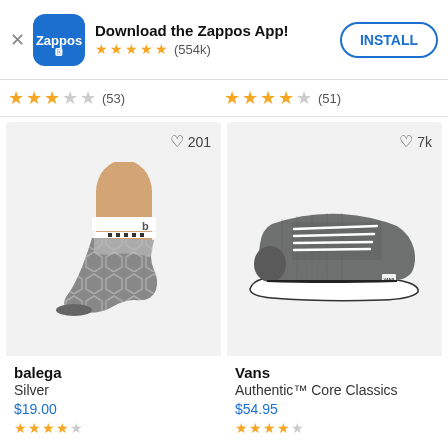Download the Zappos App! ★★★★★ (554k) INSTALL
★★★ (53)   ★★★★ (51)
[Figure (photo): Balega silver ankle sock on a mannequin foot, gray honeycomb pattern, white cuff with black dash stripe. Heart icon with 201 likes.]
[Figure (photo): Vans Authentic Core Classics gray canvas lace-up sneaker with white sole and white laces. Heart icon with 7k likes.]
balega
Silver
$19.00
Vans
Authentic™ Core Classics
$54.95